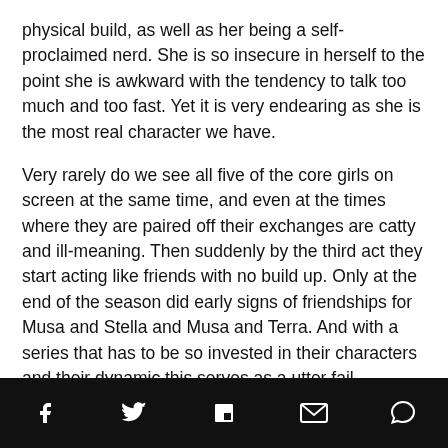physical build, as well as her being a self-proclaimed nerd. She is so insecure in herself to the point she is awkward with the tendency to talk too much and too fast. Yet it is very endearing as she is the most real character we have.
Very rarely do we see all five of the core girls on screen at the same time, and even at the times where they are paired off their exchanges are catty and ill-meaning. Then suddenly by the third act they start acting like friends with no build up. Only at the end of the season did early signs of friendships for Musa and Stella and Musa and Terra. And with a series that has to be so invested in their characters and their dynamic this serves as a utter fail.
The series spends too much time focusing on teen drama,
[social share icons: Facebook, Twitter, Flipboard, Email, Comment]